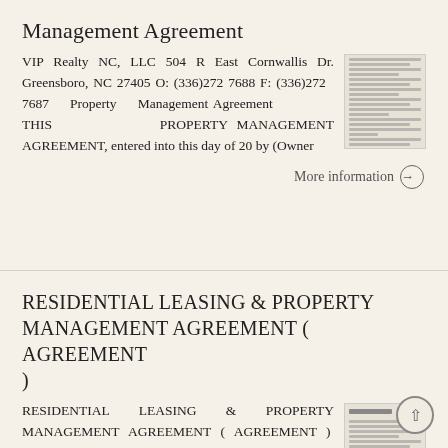Management Agreement
VIP Realty NC, LLC 504 R East Cornwallis Dr. Greensboro, NC 27405 O: (336)272 7688 F: (336)272 7687 Property Management Agreement THIS PROPERTY MANAGEMENT AGREEMENT, entered into this day of 20 by (Owner
[Figure (other): Thumbnail image of a document page]
More information →
RESIDENTIAL LEASING & PROPERTY MANAGEMENT AGREEMENT ( AGREEMENT )
RESIDENTIAL LEASING & PROPERTY MANAGEMENT AGREEMENT ( AGREEMENT ) This Residential Leasing & Property Management Agreement is entered into by and between ( OWNER ) and Big Dog Property Management, Inc.
[Figure (other): Thumbnail image of a document page]